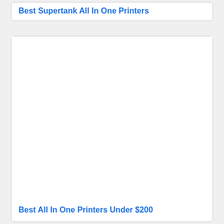Best Supertank All In One Printers
[Figure (photo): Large white image placeholder for a printer product image]
Best All In One Printers Under $200